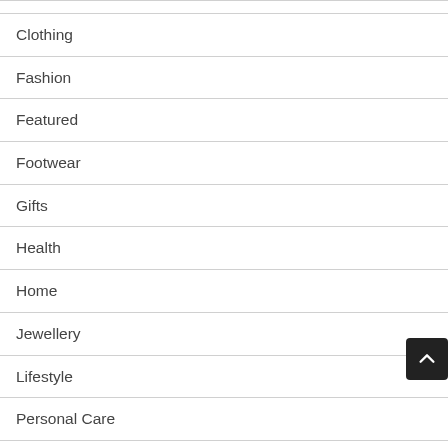Clothing
Fashion
Featured
Footwear
Gifts
Health
Home
Jewellery
Lifestyle
Personal Care
Photography
Shopping